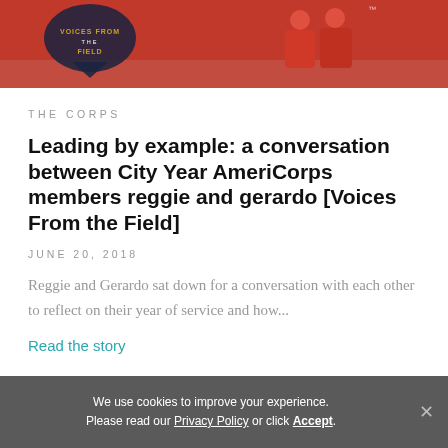[Figure (photo): Two people wearing red City Year AmeriCorps sweatshirts standing together; a 'Voices From the Field' badge/logo visible on the left side of the image.]
THE CORPS
Leading by example: a conversation between City Year AmeriCorps members reggie and gerardo [Voices From the Field]
JUNE 20, 2018
Reggie and Gerardo sat down for a conversation with each other to reflect on their year of service and how...
Read the story
We use cookies to improve your experience. Please read our Privacy Policy or click Accept.